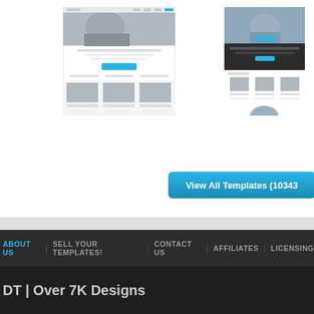[Figure (screenshot): Website template screenshot - customer support/business theme, left preview showing hero image with man in suit, teal call-to-action button, team member photos]
[Figure (screenshot): Website template screenshot - customer support theme, right preview showing hero with support agent wearing headset, dark section with team member thumbnails]
View All Templates (10343
ABOUT US | SELL YOUR TEMPLATES! | CONTACT US | AFFILIATES | LICENSING
DT | Over 7K Designs